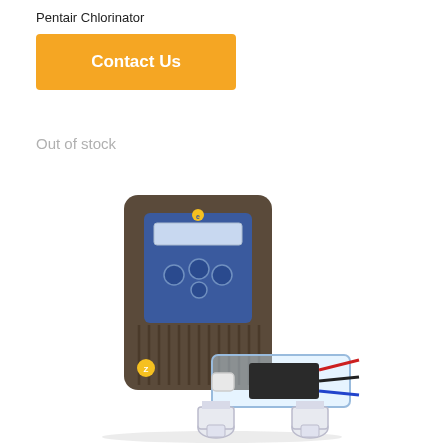Pentair Chlorinator
Contact Us
Out of stock
[Figure (photo): Pentair chlorinator product showing a brown wall-mounted control unit with blue panel displaying controls and display screen, paired with a clear inline cell/electrode assembly with white pipe fittings and wiring.]